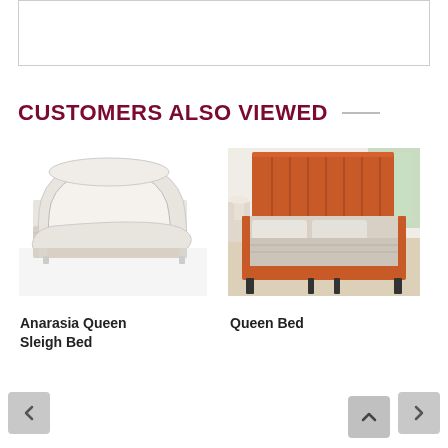[Figure (other): Top bordered box, partially visible content area]
CUSTOMERS ALSO VIEWED
[Figure (photo): Anarasia Queen Sleigh Bed - white sleigh bed with gray bedding]
Anarasia Queen Sleigh Bed
[Figure (photo): Queen Bed - orange upholstered bed with channel tufting, shown in a bright room]
Queen Bed